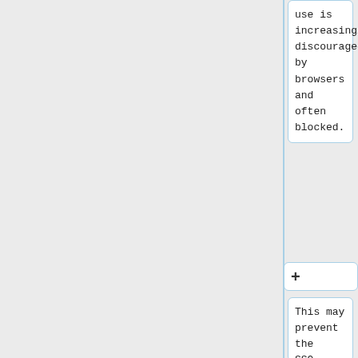use is increasingly discouraged by browsers and often blocked.
+
This may prevent the SSO notification cookie from being placed. In such a case, the user can still log in via Entree Federation, but will